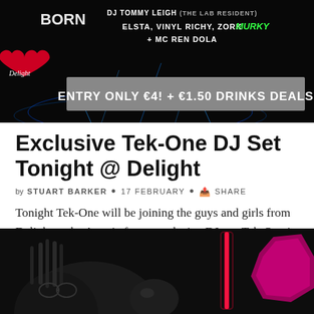[Figure (photo): Dark promotional banner for Delight nightclub event featuring DJ Tommy Leigh (The Lab Resident), Elsta, Vinyl Richy, Zork Murky, MC Ren Dola. Entry Only €4 + €1.50 Drinks Deals. Features a heart tattoo logo with 'Delight' text on a black background with blue lightning effects.]
Exclusive Tek-One DJ Set Tonight @ Delight
by STUART BARKER • 17 FEBRUARY • SHARE
Tonight Tek-One will be joining the guys and girls from Delight at the Astoria for an exclusive DJ set. Tek-One is regarded as one of..
[Figure (photo): Dark nightclub photo showing performers/DJs on stage with neon lights including a red/pink neon strip light, against a dark background.]